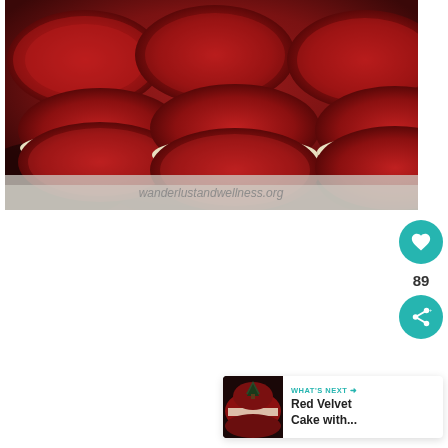[Figure (photo): Close-up photo of red velvet whoopie pie sandwich cookies stacked, showing deep red cookie halves with white cream filling, with watermark 'wanderlustandwellness.org' at bottom]
[Figure (infographic): UI overlay with teal heart/like button showing count 89, teal share button, and a 'WHAT'S NEXT' card showing Red Velvet Cake with thumbnail]